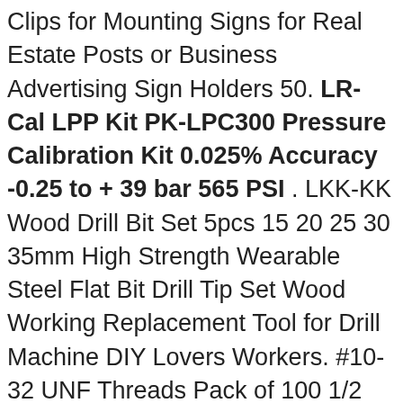Clips for Mounting Signs for Real Estate Posts or Business Advertising Sign Holders 50. LR-Cal LPP Kit PK-LPC300 Pressure Calibration Kit 0.025% Accuracy -0.25 to + 39 bar 565 PSI . LKK-KK Wood Drill Bit Set 5pcs 15 20 25 30 35mm High Strength Wearable Steel Flat Bit Drill Tip Set Wood Working Replacement Tool for Drill Machine DIY Lovers Workers. #10-32 UNF Threads Pack of 100 1/2 Length Zinc Plated Finish Phillips Drive Meets ASME B18.6.3 Round Head Steel Machine Screw Fully Threaded, Enerpac A-242 Pipe Coupling with 12.5-Ton Capacity. LR-Cal LPP Kit PK-LPC300 Pressure Calibration Kit 0.025% Accuracy -0.25 to + 39 bar 565 PSI .